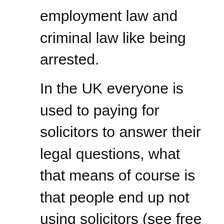employment law and criminal law like being arrested.
In the UK everyone is used to paying for solicitors to answer their legal questions, what that means of course is that people end up not using solicitors (see free legal advice selby) and just trying to cope without a solicitor, that can lead to more of a mess, just being able to ask a solicitor